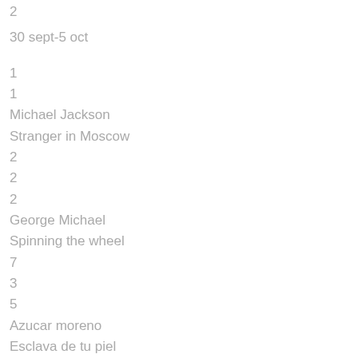2
30 sept-5 oct
1
1
Michael Jackson
Stranger in Moscow
2
2
2
George Michael
Spinning the wheel
7
3
5
Azucar moreno
Esclava de tu piel
3
4
?
?